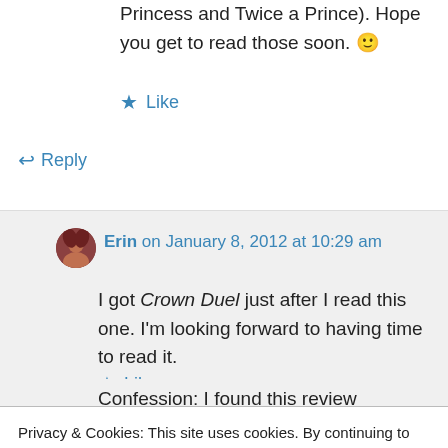Princess and Twice a Prince). Hope you get to read those soon. 🙂
★ Like
↪ Reply
Erin on January 8, 2012 at 10:29 am
I got Crown Duel just after I read this one. I'm looking forward to having time to read it.
★ Like
Privacy & Cookies: This site uses cookies. By continuing to use this website, you agree to their use. To find out more, including how to control cookies, see here: Cookie Policy
Close and accept
Confession: I found this review because I just